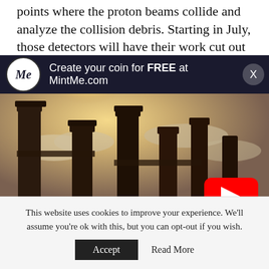points where the proton beams collide and analyze the collision debris. Starting in July, those detectors will have their work cut out for them. The proton beams
[Figure (screenshot): Advertisement overlay: MintMe.com logo and text 'Create your coin for FREE at MintMe.com' on dark background with close button (X)]
[Figure (photo): Video thumbnail showing ancient stone columns silhouetted against a dramatic cloudy sky with a YouTube play button overlay]
This website uses cookies to improve your experience. We'll assume you're ok with this, but you can opt-out if you wish.
Accept   Read More